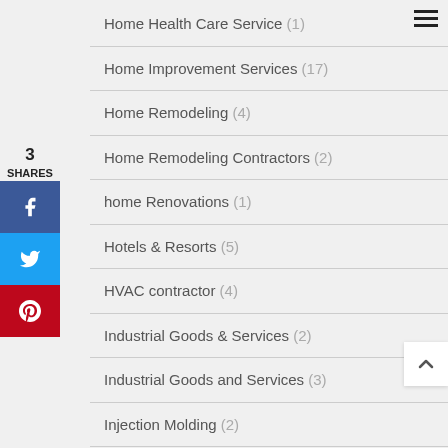Home Health Care Service (1)
Home Improvement Services (17)
Home Remodeling (4)
Home Remodeling Contractors (2)
home Renovations (1)
Hotels & Resorts (5)
HVAC contractor (4)
Industrial Goods & Services (2)
Industrial Goods and Services (3)
Injection Molding (2)